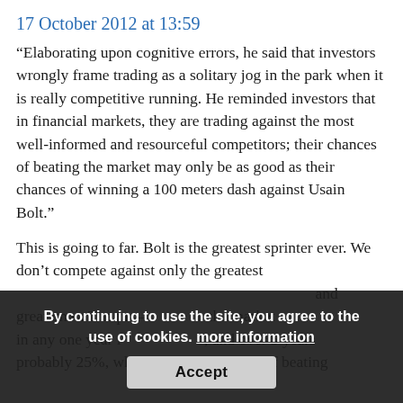17 October 2012 at 13:59
“Elaborating upon cognitive errors, he said that investors wrongly frame trading as a solitary jog in the park when it is really competitive running. He reminded investors that in financial markets, they are trading against the most well-informed and resourceful competitors; their chances of beating the market may only be as good as their chances of winning a 100 meters dash against Usain Bolt.”
This is going to far. Bolt is the greatest sprinter ever. We don’t compete against only the greatest and over 5 years probably 25%, whereas the probability of beating
By continuing to use the site, you agree to the use of cookies. more information
Accept